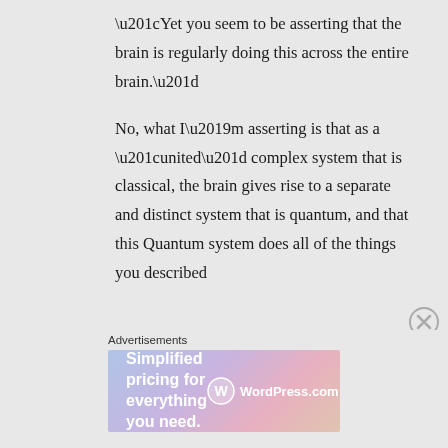“Yet you seem to be asserting that the brain is regularly doing this across the entire brain.”
No, what I’m asserting is that as a “united” complex system that is classical, the brain gives rise to a separate and distinct system that is quantum, and that this Quantum system does all of the things you described
Advertisements
[Figure (illustration): WordPress.com advertisement banner with gradient background (blue to purple to pink) reading 'Simplified pricing for everything you need.' with WordPress.com logo on the right.]